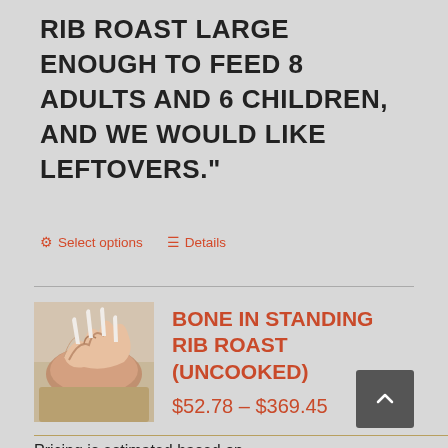WOULD LIKE A BONELESS PRIME RIB ROAST LARGE ENOUGH TO FEED 8 ADULTS AND 6 CHILDREN, AND WE WOULD LIKE LEFTOVERS."
Select options   Details
[Figure (photo): Photo of a bone-in standing rib roast, raw/uncooked, showing the bones and marbled meat on a wooden surface]
BONE IN STANDING RIB ROAST (UNCOOKED)
$52.78 – $369.45
Pricing is estimated based on approximate weight at